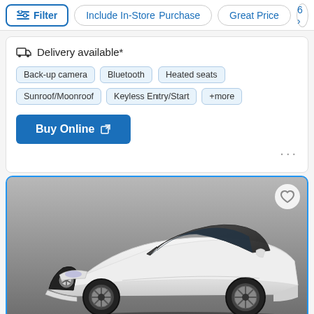Filter | Include In-Store Purchase | Great Price | 6 >
Delivery available*
Back-up camera
Bluetooth
Heated seats
Sunroof/Moonroof
Keyless Entry/Start
+more
Buy Online
[Figure (photo): White Mercedes-Benz SLC sports car, front three-quarter view, on grey background, with heart/save icon in top right and carousel dots at bottom]